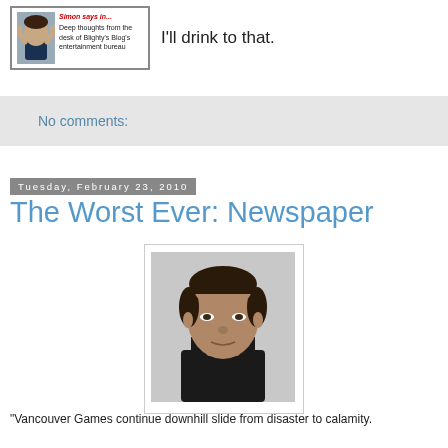[Figure (screenshot): Blog box with person photo and text: Deep thoughts from the desk of Blighty's Blog's entertainment bureau]
I'll drink to that.
No comments:
Tuesday, February 23, 2010
The Worst Ever: Newspaper
[Figure (photo): Portrait photo of a middle-aged man with dark hair wearing a black jacket, against a grey background]
"Vancouver Games continue downhill slide from disaster to calamity.